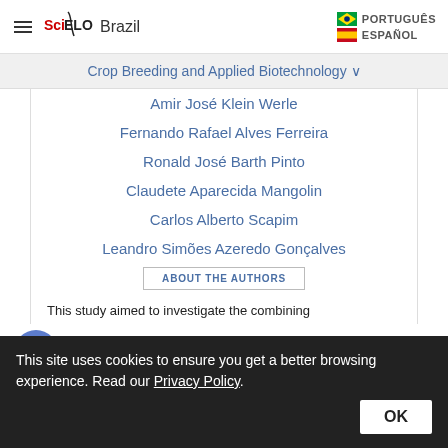SciELO Brazil | PORTUGUÊS | ESPAÑOL
Crop Breeding and Applied Biotechnology
Amir José Klein Werle
Fernando Rafael Alves Ferreira
Ronald José Barth Pinto
Claudete Aparecida Mangolin
Carlos Alberto Scapim
Leandro Simões Azeredo Gonçalves
ABOUT THE AUTHORS
This study aimed to investigate the combining
This site uses cookies to ensure you get a better browsing experience. Read our Privacy Policy.